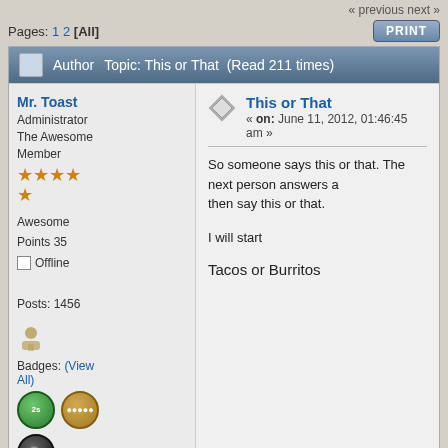« previous next »
Pages: 1 2 [All]
Author   Topic: This or That  (Read 211 times)
Mr. Toast
Administrator
The Awesome Member
Awesome Points 35
Offline
Posts: 1456
This or That
« on: June 11, 2012, 01:46:45 am »
So someone says this or that. The next person answers and then say this or that.
I will start
Tacos or Burritos
Badges: (View All)
Report Spam   Lo